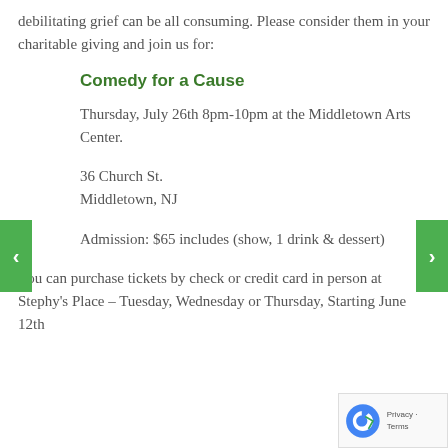debilitating grief can be all consuming. Please consider them in your charitable giving and join us for:
Comedy for a Cause
Thursday, July 26th 8pm-10pm at the Middletown Arts Center.
36 Church St.
Middletown, NJ
Admission: $65 includes (show, 1 drink & dessert)
You can purchase tickets by check or credit card in person at Stephy's Place – Tuesday, Wednesday or Thursday, Starting June 12th